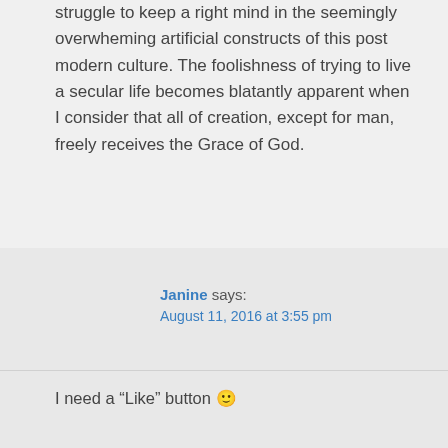struggle to keep a right mind in the seemingly overwheming artificial constructs of this post modern culture. The foolishness of trying to live a secular life becomes blatantly apparent when I consider that all of creation, except for man, freely receives the Grace of God.
Janine says: August 11, 2016 at 3:55 pm
I need a “Like” button 🙂